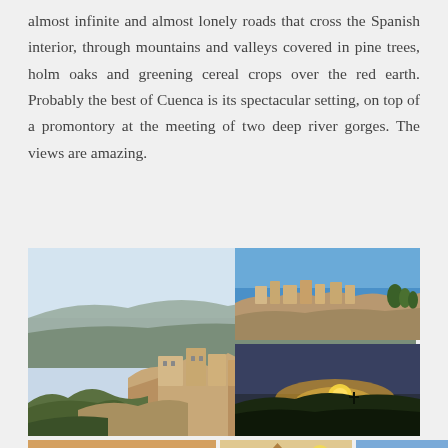almost infinite and almost lonely roads that cross the Spanish interior, through mountains and valleys covered in pine trees, holm oaks and greening cereal crops over the red earth. Probably the best of Cuenca is its spectacular setting, on top of a promontory at the meeting of two deep river gorges. The views are amazing.
[Figure (photo): Collage of photos showing Cuenca, Spain: large panoramic view of the hanging houses and cliffs, smaller images of the city on rocky promontory, sunset over hills, and street-level views of historic architecture.]